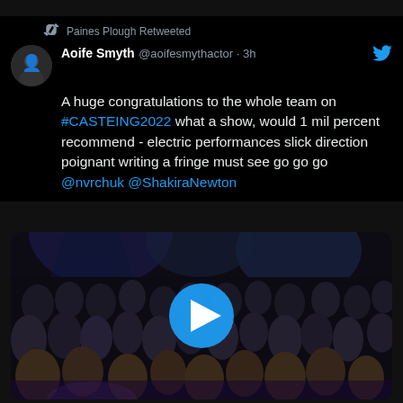Paines Plough Retweeted
Aoife Smyth @aoifesmythactor · 3h
A huge congratulations to the whole team on #CASTEING2022 what a show, would 1 mil percent recommend - electric performances slick direction poignant writing a fringe must see go go go @nvrchuk @ShakiraNewton
[Figure (screenshot): Video thumbnail showing a crowd scene at a theatre event with a blue play button overlay in the center]